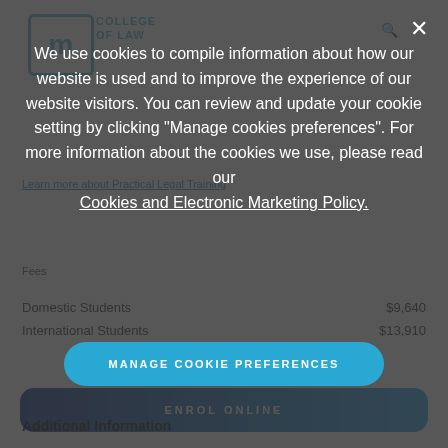[Figure (screenshot): College of Law website screenshot showing cookie consent overlay with manage cookie preferences button over a page about Practical Legal Training fees]
We use cookies to compile information about how our website is used and to improve the experience of our website visitors. You can review and update your cookie setting by clicking "Manage cookies preferences". For more information about the cookies we use, please read our
Cookies and Electronic Marketing Policy.
MANAGE COOKIE PREFERENCES
Learn more about Practical Legal Training
Fees
| Student Type | Fee |
| --- | --- |
| Domestic Students | $9,640 |
| International Students | $13,910 |
ENROL ONLINE
Additional Information